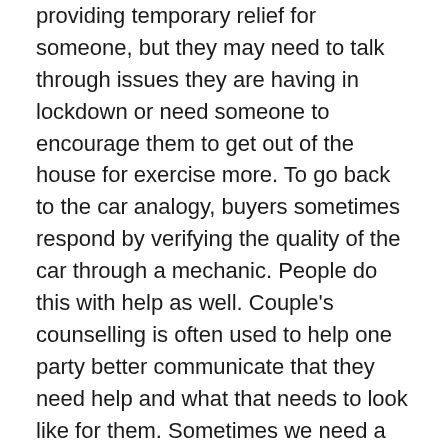providing temporary relief for someone, but they may need to talk through issues they are having in lockdown or need someone to encourage them to get out of the house for exercise more. To go back to the car analogy, buyers sometimes respond by verifying the quality of the car through a mechanic. People do this with help as well. Couple's counselling is often used to help one party better communicate that they need help and what that needs to look like for them. Sometimes we need a mechanic for the feelings!
Another reason why the market for help is undersupplied is that there are co-benefits to the participants which are not accounted for. One major one I experienced is that it creates stronger relationship bonds. When you have sobbed uncontrollably into a domino's pizza box while watching Emily in Paris in